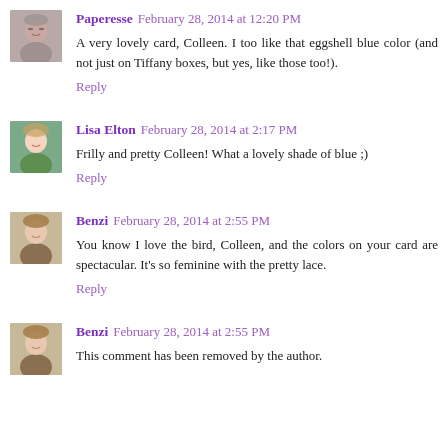[Figure (photo): Avatar photo of Paperesse, woman with glasses]
Paperesse February 28, 2014 at 12:20 PM
A very lovely card, Colleen. I too like that eggshell blue color (and not just on Tiffany boxes, but yes, like those too!).
Reply
[Figure (photo): Avatar photo of Lisa Elton, woman outdoors]
Lisa Elton February 28, 2014 at 2:17 PM
Frilly and pretty Colleen! What a lovely shade of blue ;)
Reply
[Figure (photo): Avatar photo of Benzi, woman with brown hair]
Benzi February 28, 2014 at 2:55 PM
You know I love the bird, Colleen, and the colors on your card are spectacular. It's so feminine with the pretty lace.
Reply
[Figure (photo): Avatar photo of Benzi, same as above]
Benzi February 28, 2014 at 2:55 PM
This comment has been removed by the author.